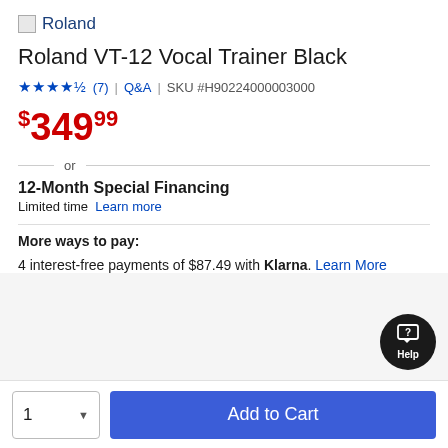[Figure (logo): Roland brand logo with small image placeholder icon]
Roland VT-12 Vocal Trainer Black
★★★★½ (7) | Q&A | SKU #H90224000003000
$349.99
or
12-Month Special Financing
Limited time  Learn more
More ways to pay:
4 interest-free payments of $87.49 with Klarna. Learn More